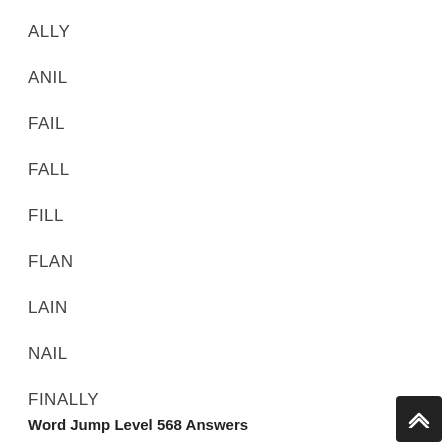ALLY
ANIL
FAIL
FALL
FILL
FLAN
LAIN
NAIL
FINALLY
Word Jump Level 568 Answers